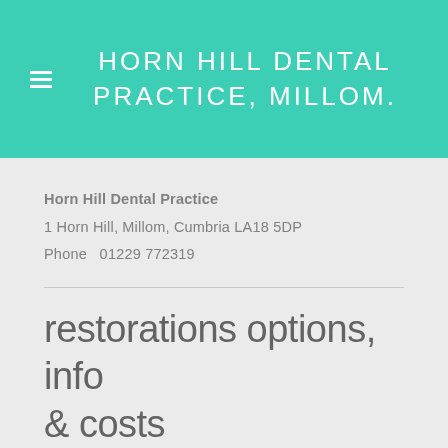HORN HILL DENTAL PRACTICE, MILLOM.
Horn Hill Dental Practice
1 Horn Hill, Millom, Cumbria LA18 5DP
Phone  01229 772319
restorations options, info & costs
Amalgam fillings:
from  £72 - £220.